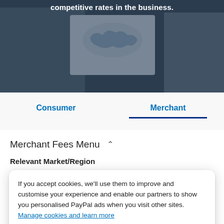[Figure (photo): Hero banner image showing a person painting with a world map, dark overlay, text at top reading 'competitive rates in the business.']
Consumer
Merchant
Merchant Fees Menu
Relevant Market/Region
Commercial Transaction Rates
If you accept cookies, we'll use them to improve and customise your experience and enable our partners to show you personalised PayPal ads when you visit other sites. Manage cookies and learn more
PayPal Here Rates